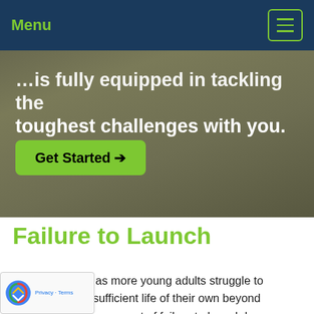Menu
[Figure (screenshot): Dark olive/brown gradient hero background with white bold text partially cut off at top reading '...is fully equipped in tackling the toughest challenges with you.' and a green 'Get Started →' button below.]
Failure to Launch
In recent years, as more young adults struggle to establish a self-sufficient life of their own beyond adolescence, the concept of failure to launch has been [used to] refer to the phenomenon. This is hardly [surprisi]ng given the current state of the economy and [e]ducation across the United States, but it is a reality